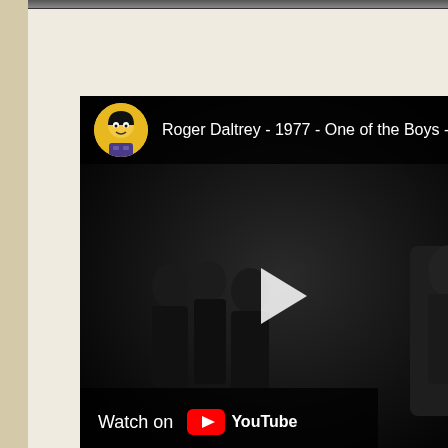[Figure (screenshot): Screenshot of a YouTube video embed showing Roger Daltrey - 1977 - One of the Boys - Say It. Dark video thumbnail showing silhouetted figures on stage. Has a YouTube channel avatar (South Park style character), video title in white text, play button in center, and 'Watch on YouTube' button at bottom left.]